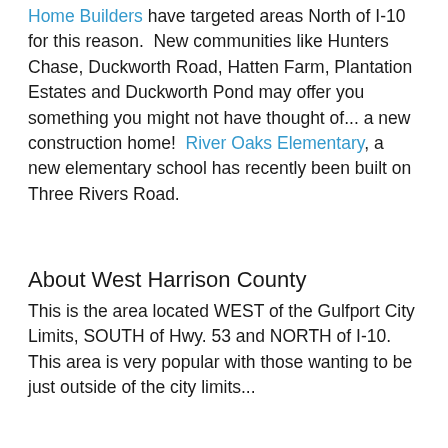Home Builders have targeted areas North of I-10 for this reason.  New communities like Hunters Chase, Duckworth Road, Hatten Farm, Plantation Estates and Duckworth Pond may offer you something you might not have thought of... a new construction home!  River Oaks Elementary, a new elementary school has recently been built on Three Rivers Road.
About West Harrison County
This is the area located WEST of the Gulfport City Limits, SOUTH of Hwy. 53 and NORTH of I-10.  This area is very popular with those wanting to be just outside of the city limits...